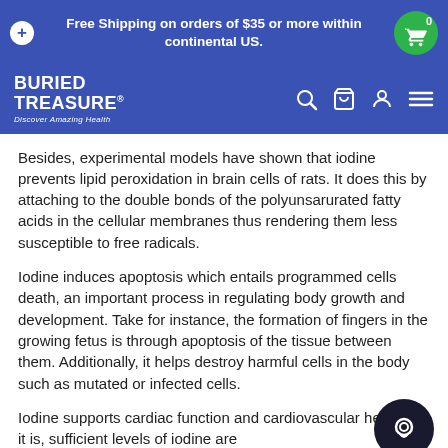Free Shipping on orders of $35 or more within continental US.
[Figure (logo): Buried Treasure logo with text 'Discover Amazing Health' and navigation icons (search, cart, account, menu)]
Besides, experimental models have shown that iodine prevents lipid peroxidation in brain cells of rats. It does this by attaching to the double bonds of the polyunsarurated fatty acids in the cellular membranes thus rendering them less susceptible to free radicals.
Iodine induces apoptosis which entails programmed cells death, an important process in regulating body growth and development. Take for instance, the formation of fingers in the growing fetus is through apoptosis of the tissue between them. Additionally, it helps destroy harmful cells in the body such as mutated or infected cells.
Iodine supports cardiac function and cardiovascular health. As it is, sufficient levels of iodine are